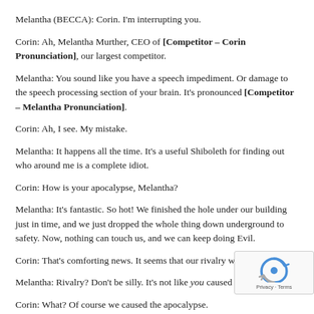Melantha (BECCA): Corin. I'm interrupting you.
Corin: Ah, Melantha Murther, CEO of [Competitor – Corin Pronunciation], our largest competitor.
Melantha: You sound like you have a speech impediment. Or damage to the speech processing section of your brain. It's pronounced [Competitor – Melantha Pronunciation].
Corin: Ah, I see. My mistake.
Melantha: It happens all the time. It's a useful Shiboleth for finding out who around me is a complete idiot.
Corin: How is your apocalypse, Melantha?
Melantha: It's fantastic. So hot! We finished the hole under our building just in time, and we just dropped the whole thing down underground to safety. Now, nothing can touch us, and we can keep doing Evil.
Corin: That's comforting news. It seems that our rivalry will go o…
Melantha: Rivalry? Don't be silly. It's not like you caused the ap…
Corin: What? Of course we caused the apocalypse.